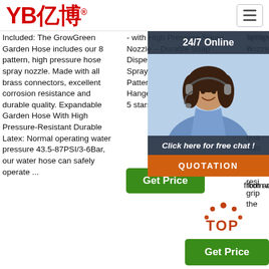[Figure (logo): YB亿博 logo in red with registered trademark symbol]
[Figure (other): Hamburger menu icon button in top right corner]
Included: The GrowGreen Garden Hose includes our 8 pattern, high pressure hose spray nozzle. Made with all brass connectors, excellent corrosion resistance and durable quality. Expandable Garden Hose With High Pressure-Resistant Durable Latex: Normal operating water pressure 43.5-87PSI/3-6Bar, our water hose can safely operate ...
- with High Pressure Spray Nozzle – Durable Soap Dispensing Sprayer Gun - 9 Spray + 3 Foam Spraying Patterns with Storage Bag, Hanger & Wash Mitt. 4.3 out of 5 stars. 348. $33.81.
sprayer is made of solid ... more ... plastic ... nozzle ... nozzle ... quality ... finish ... rust ... wear ... resistance ... grip ... the ... from accidental impacts
[Figure (photo): 24/7 Online chat panel with photo of female customer service agent wearing headset, with 'Click here for free chat!' text and QUOTATION button]
[Figure (other): Get Price green button in center column]
[Figure (other): TOP badge with orange dots above it, and Get Price green button at bottom right]